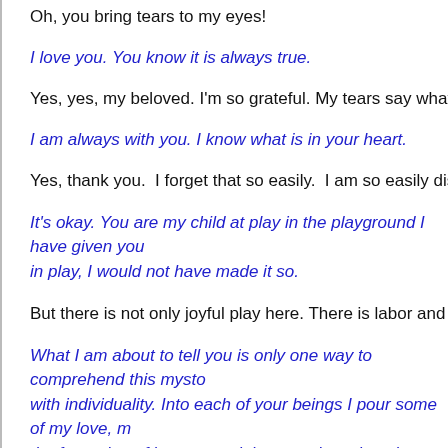Oh, you bring tears to my eyes!
I love you. You know it is always true.
Yes, yes, my beloved. I'm so grateful. My tears say what words cann…
I am always with you. I know what is in your heart.
Yes, thank you.  I forget that so easily.  I am so easily distracted and…
It's okay. You are my child at play in the playground I have given you… in play, I would not have made it so.
But there is not only joyful play here. There is labor and misery and e…
What I am about to tell you is only one way to comprehend this mysto… with individuality. Into each of your beings I pour some of my love, m… the forgetting of its root, and then send you into the natural world wit… so that you might be free to participate in creation with me, even to m…
In the forgetting of your root you sense your loss and limitation, yet th…